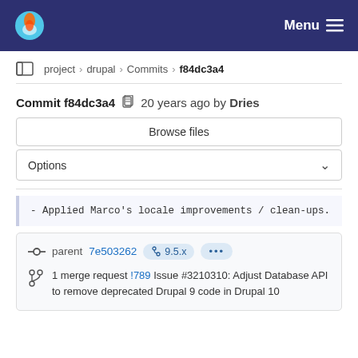Menu
project › drupal › Commits › f84dc3a4
Commit f84dc3a4  20 years ago by Dries
Browse files
Options
- Applied Marco's locale improvements / clean-ups.
parent 7e503262  9.5.x  ...
1 merge request !789 Issue #3210310: Adjust Database API to remove deprecated Drupal 9 code in Drupal 10